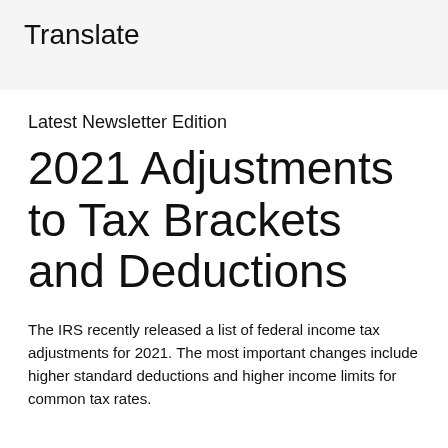Translate
Latest Newsletter Edition
2021 Adjustments to Tax Brackets and Deductions
The IRS recently released a list of federal income tax adjustments for 2021. The most important changes include higher standard deductions and higher income limits for common tax rates.